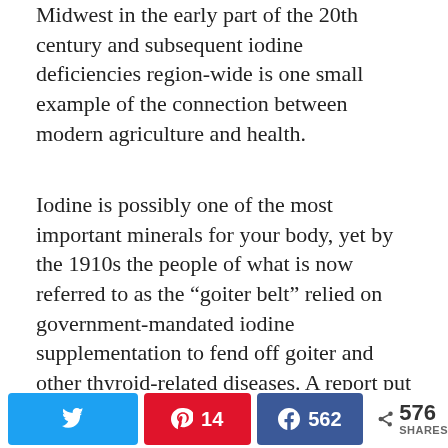Midwest in the early part of the 20th century and subsequent iodine deficiencies region-wide is one small example of the connection between modern agriculture and health.
Iodine is possibly one of the most important minerals for your body, yet by the 1910s the people of what is now referred to as the “goiter belt” relied on government-mandated iodine supplementation to fend off goiter and other thyroid-related diseases. A report put out by Boston Medical Center in 2012 found that between 26 and 70% of children in the area in the 1920s had “clinically apparent goiter [5].” [Note: a goiter is a swelling on the neck caused by
Twitter | Pinterest 14 | Facebook 562 | Share 576 SHARES